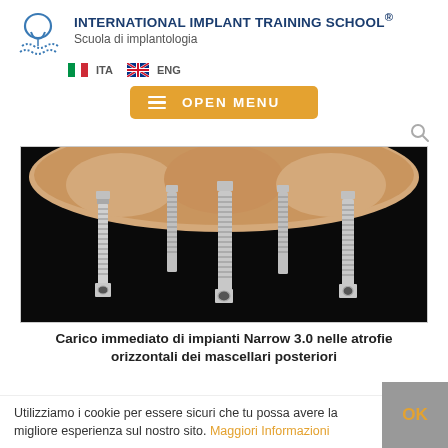INTERNATIONAL IMPLANT TRAINING SCHOOL® Scuola di implantologia
ITA  ENG
OPEN MENU
[Figure (photo): Close-up photograph of dental implants with narrow 3.0 screws mounted in a jaw model against black background, showing three implant abutments with threaded screws extending downward]
Carico immediato di impianti Narrow 3.0 nelle atrofie orizzontali dei mascellari posteriori
Utilizziamo i cookie per essere sicuri che tu possa avere la migliore esperienza sul nostro sito.  Maggiori Informazioni   OK